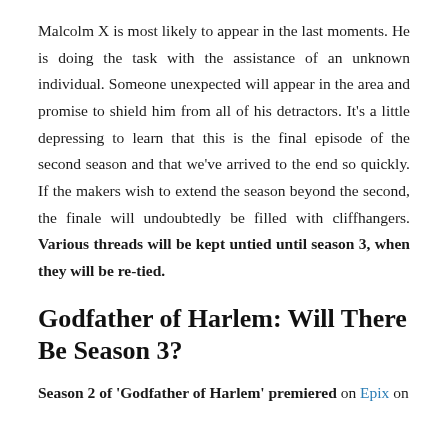Malcolm X is most likely to appear in the last moments. He is doing the task with the assistance of an unknown individual. Someone unexpected will appear in the area and promise to shield him from all of his detractors. It's a little depressing to learn that this is the final episode of the second season and that we've arrived to the end so quickly. If the makers wish to extend the season beyond the second, the finale will undoubtedly be filled with cliffhangers. Various threads will be kept untied until season 3, when they will be re-tied.
Godfather of Harlem: Will There Be Season 3?
Season 2 of 'Godfather of Harlem' premiered on Epix on